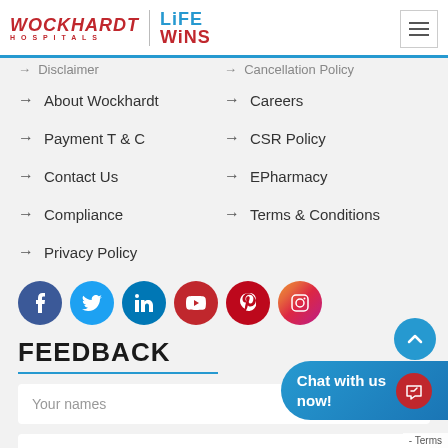[Figure (logo): Wockhardt Hospitals Life Wins logo with hamburger menu]
→ Disclaimer (partial)
→ About Wockhardt
→ Payment T & C
→ Contact Us
→ Compliance
→ Privacy Policy
→ Cancellation Policy (partial)
→ Careers
→ CSR Policy
→ EPharmacy
→ Terms & Conditions
[Figure (infographic): Social media icons: Facebook, Twitter, LinkedIn, YouTube, Pinterest, Instagram]
FEEDBACK
Your names
Your email address